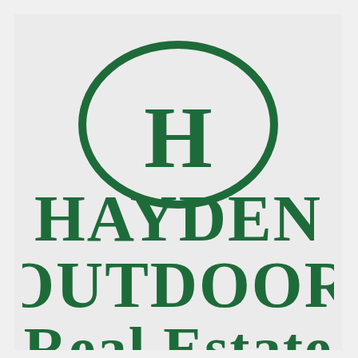[Figure (logo): Hayden Outdoor Real Estate logo: a dark green oval border containing a large 'H' letter, with 'HAYDEN', 'OUTDOOR', and 'REAL ESTATE' text in dark green serif font below.]